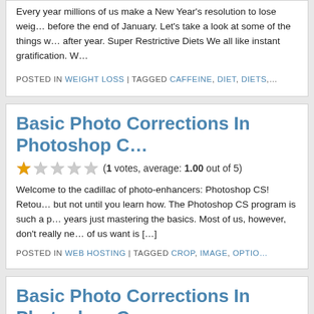Every year millions of us make a New Year's resolution to lose weight only to abandon it before the end of January. Let's take a look at some of the things we do wrong year after year. Super Restrictive Diets We all like instant gratification. W…
POSTED IN WEIGHT LOSS | TAGGED CAFFEINE, DIET, DIETS,…
Basic Photo Corrections In Photoshop C…
(1 votes, average: 1.00 out of 5)
Welcome to the cadillac of photo-enhancers: Photoshop CS! Retou… but not until you learn how. The Photoshop CS program is such a p… years just mastering the basics. Most of us, however, don't really ne… of us want is […]
POSTED IN WEB HOSTING | TAGGED CROP, IMAGE, OPTIO…
Basic Photo Corrections In Photoshop C…
(No Ratings Yet)